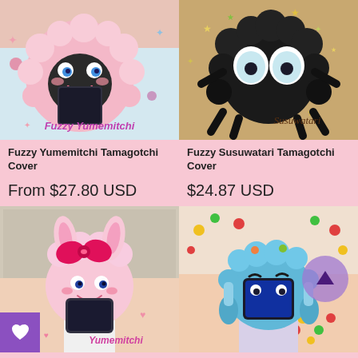[Figure (photo): Fuzzy Yumemitchi Tamagotchi cover - pink fluffy crocheted character with blue eyes and open mouth, displaying a phone/device]
[Figure (photo): Fuzzy Susuwatari Tamagotchi cover - black fluffy crocheted soot sprite character with large white eyes]
Fuzzy Yumemitchi Tamagotchi Cover
Fuzzy Susuwatari Tamagotchi Cover
From $27.80 USD
$24.87 USD
[Figure (photo): Yumemitchi crochet Tamagotchi watch cover - pink bunny character with hot pink bow on white smartwatch band, worn on wrist]
[Figure (photo): Blue crochet Tamagotchi watch cover - blue monster/creature character on wrist with colorful bead decorations, with purple up-arrow button overlay]